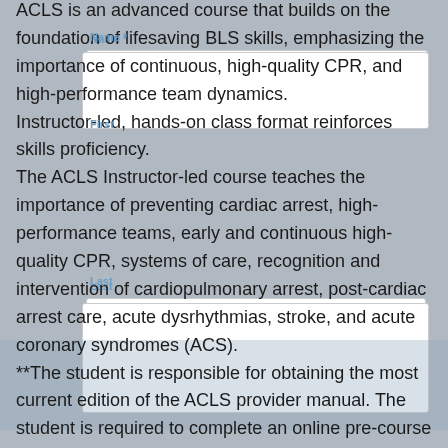ACLS is an advanced course that builds on the foundation of lifesaving BLS skills, emphasizing the importance of continuous, high-quality CPR, and high-performance team dynamics.
Instructor-led, hands-on class format reinforces skills proficiency.
The ACLS Instructor-led course teaches the importance of preventing cardiac arrest, high-performance teams, early and continuous high-quality CPR, systems of care, recognition and intervention of cardiopulmonary arrest, post-cardiac arrest care, acute dysrhythmias, stroke, and acute coronary syndromes (ACS).
**The student is responsible for obtaining the most current edition of the ACLS provider manual. The student is required to complete an online pre-course assessment and